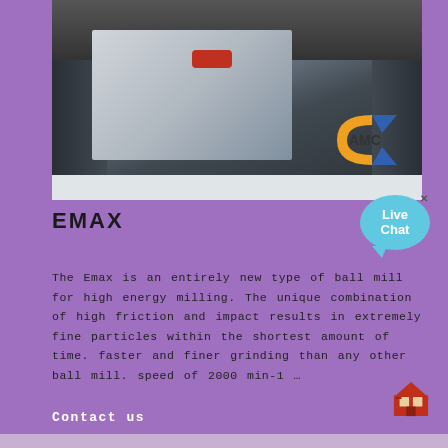[Figure (photo): Close-up photo of the Emax high energy ball mill machine showing mechanical components with AMC logo in bottom right corner]
EMAX
The Emax is an entirely new type of ball mill for high energy milling. The unique combination of high friction and impact results in extremely fine particles within the shortest amount of time. faster and finer grinding than any other ball mill. speed of 2000 min-1 …
Contact us